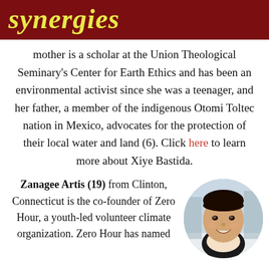synergies
mother is a scholar at the Union Theological Seminary's Center for Earth Ethics and has been an environmental activist since she was a teenager, and her father, a member of the indigenous Otomi Toltec nation in Mexico, advocates for the protection of their local water and land (6). Click here to learn more about Xiye Bastida.
Zanagee Artis (19) from Clinton, Connecticut is the co-founder of Zero Hour, a youth-led volunteer climate organization. Zero Hour has named
[Figure (photo): Circular portrait photo of a young man smiling, with short dark hair, wearing a dark shirt, outdoors with a blurred background.]